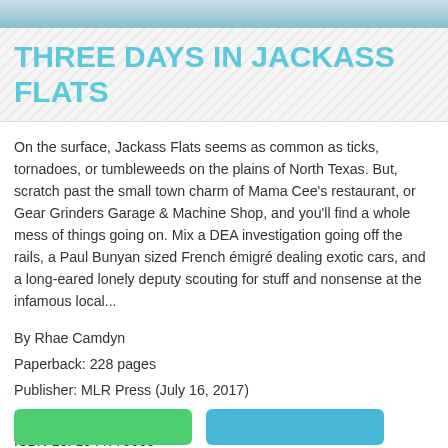[Figure (photo): Photo strip at top of page, partially cropped]
THREE DAYS IN JACKASS FLATS
On the surface, Jackass Flats seems as common as ticks, tornadoes, or tumbleweeds on the plains of North Texas. But, scratch past the small town charm of Mama Cee's restaurant, or Gear Grinders Garage & Machine Shop, and you'll find a whole mess of things going on. Mix a DEA investigation going off the rails, a Paul Bunyan sized French émigré dealing exotic cars, and a long-eared lonely deputy scouting for stuff and nonsense at the infamous local...
By Rhae Camdyn
Paperback: 228 pages
Publisher: MLR Press (July 16, 2017)
Language: English
ISBN-10: 1944770666
ISBN-13: 978-1944770662
Product Dimensions: 5 x 0.5 x 8 inches
Amazon Rank: 4711414
Format: PDF ePub djvu ebook
[Figure (other): Two buttons at bottom: green download button and blue button]